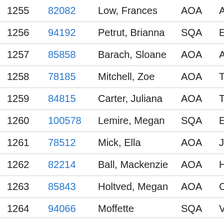| # | ID | Name | Type | Code |
| --- | --- | --- | --- | --- |
| 1255 | 82082 | Low, Frances | AOA | ALPIN... |
| 1256 | 94192 | Petrut, Brianna | SQA | EDEL... |
| 1257 | 85858 | Barach, Sloane | AOA | ALPIN... |
| 1258 | 78185 | Mitchell, Zoe | AOA | TSCBM... |
| 1259 | 84815 | Carter, Juliana | AOA | TSCBM... |
| 1260 | 100578 | Lemire, Megan | SQA | EDEL... |
| 1261 | 78512 | Mick, Ella | AOA | JOZOW... |
| 1262 | 82214 | Ball, Mackenzie | AOA | HEIGH... |
| 1263 | 85843 | Holtved, Megan | AOA | CALDN... |
| 1264 | 94066 | Moffette... | SQA | VIDEO... |